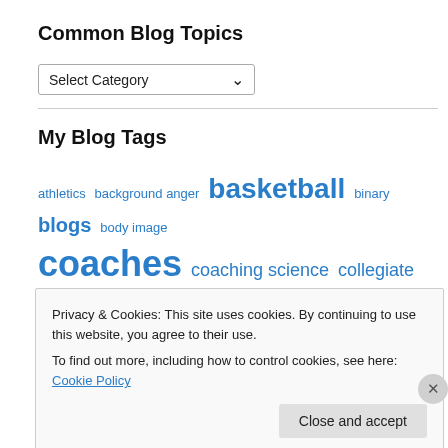Common Blog Topics
Select Category
My Blog Tags
athletics background anger basketball binary blogs body image coaches coaching science collegiate ESPN ESPN Magazine espnW exercise female athletes female
Privacy & Cookies: This site uses cookies. By continuing to use this website, you agree to their use.
To find out more, including how to control cookies, see here: Cookie Policy
Close and accept